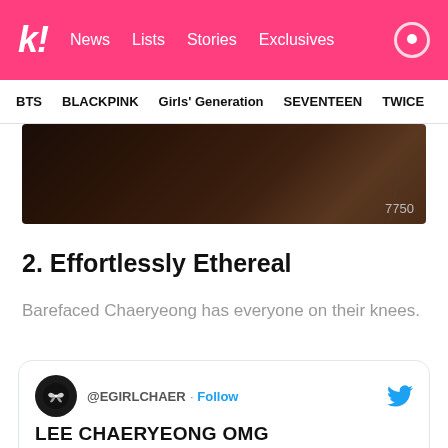kl! News Lists Stories Exclusives
BTS BLACKPINK Girls' Generation SEVENTEEN TWICE
[Figure (photo): Dark brown background banner image with number 7750 in lower right]
2. Effortlessly Ethereal
Barefaced Chaeryeong has everyone on their knees.
[Figure (screenshot): Tweet embed from @EGIRLCHAER with Follow button, Twitter bird icon, text 'LEE CHAERYEONG OMG', and a partial outdoor photo at the bottom]